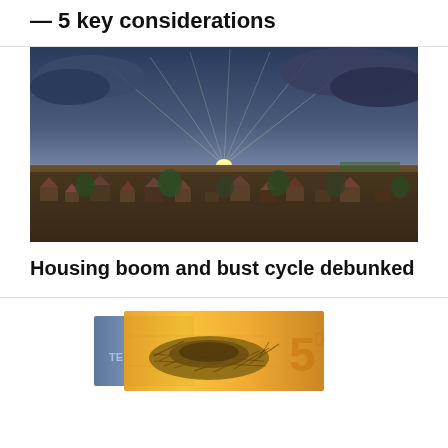— 5 key considerations
[Figure (photo): Aerial drone photo of a suburban residential neighborhood at sunset with dramatic cloudy sky and golden sunlight on the horizon]
Housing boom and bust cycle debunked
[Figure (photo): Close-up photo of a bird nest on top of Australian currency notes including a 50 dollar bill]